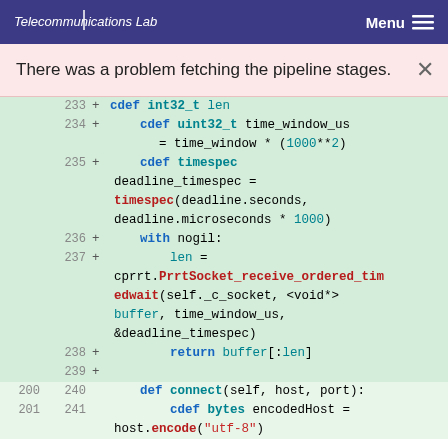Telecommunications Lab  Menu
There was a problem fetching the pipeline stages.
[Figure (screenshot): Code diff view showing Python/Cython code lines 233-241 with added lines (green background) and context lines. Lines include cdef int32_t len, cdef uint32_t time_window_us, cdef timespec deadline_timespec, timespec(deadline.seconds, deadline.microseconds * 1000), with nogil, len = cprrt.PrrtSocket_receive_ordered_timedwait(self._c_socket, <void*>buffer, time_window_us, &deadline_timespec), return buffer[:len], and def connect(self, host, port): cdef bytes encodedHost = host.encode(utf-8)]